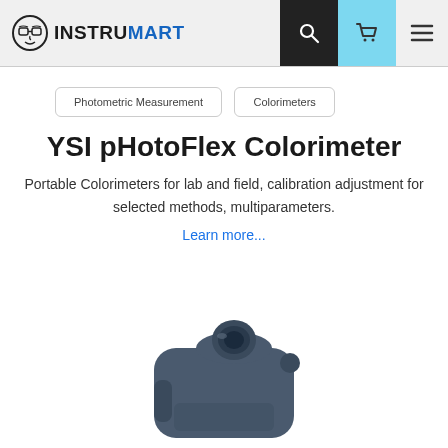INSTRUMART
Photometric Measurement
Colorimeters
YSI pHotoFlex Colorimeter
Portable Colorimeters for lab and field, calibration adjustment for selected methods, multiparameters.
Learn more...
[Figure (photo): YSI pHotoFlex Colorimeter product photo showing a dark blue/grey handheld device]